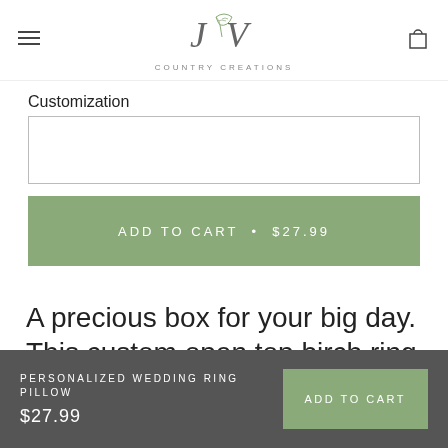[Figure (logo): JV Country Creations logo with botanical leaf illustration]
Customization
ADD TO CART • $27.99
A precious box for your big day. This custom open top birch ring pillow will
PERSONALIZED WEDDING RING PILLOW $27.99 ADD TO CART